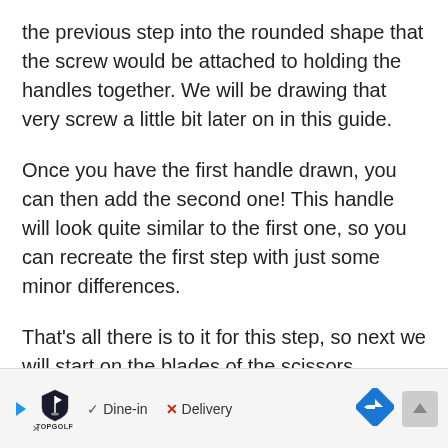the previous step into the rounded shape that the screw would be attached to holding the handles together. We will be drawing that very screw a little bit later on in this guide.
Once you have the first handle drawn, you can then add the second one! This handle will look quite similar to the first one, so you can recreate the first step with just some minor differences.
That's all there is to it for this step, so next we will start on the blades of the scissors.
[Figure (other): Advertisement bar at the bottom of the page showing TopGolf logo, a play button, checkmark with 'Dine-in', red X with 'Delivery', a blue diamond arrow navigation button, and a grey scroll-to-top button.]